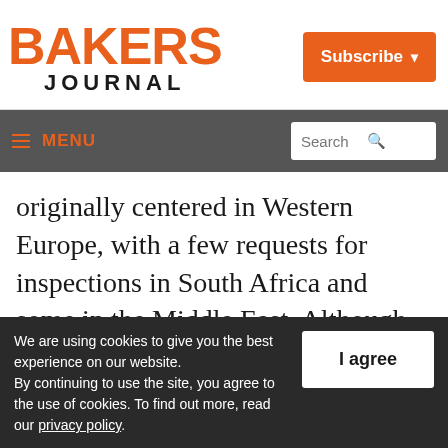BAKERS JOURNAL
Subscribe
≡ MENU  Search
originally centered in Western Europe, with a few requests for inspections in South Africa and some in the Middle East. Although AIB began working overseas at the request of Dalgety, it wasn't long before large U.S.-based companies, like East Balt, Walkers, and
We are using cookies to give you the best experience on our website.
By continuing to use the site, you agree to the use of cookies. To find out more, read our privacy policy.